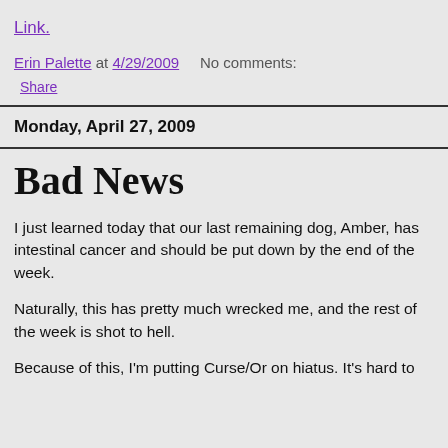Link.
Erin Palette at 4/29/2009    No comments:
Share
Monday, April 27, 2009
Bad News
I just learned today that our last remaining dog, Amber, has intestinal cancer and should be put down by the end of the week.
Naturally, this has pretty much wrecked me, and the rest of the week is shot to hell.
Because of this, I'm putting Curse/Or on hiatus. It's hard to